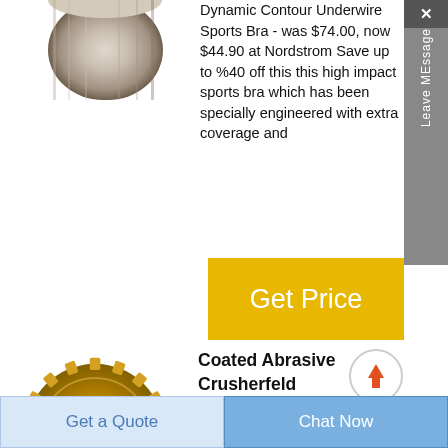[Figure (photo): Silver metallic cylindrical product, partial view from top]
Dynamic Contour Underwire Sports Bra - was $74.00, now $44.90 at Nordstrom Save up to %40 off this this high impact sports bra which has been specially engineered with extra coverage and
[Figure (other): Get Price button in yellow/gold color]
[Figure (photo): Coated abrasive crusherfeld wheel, gold/bronze metallic gear-like circular component]
Coated Abrasive Crusherfeld
A coated abrasive is disclosed that has been oversized with an anti-loading
[Figure (other): Scroll to top arrow circle button]
Get a Quote
Chat Now